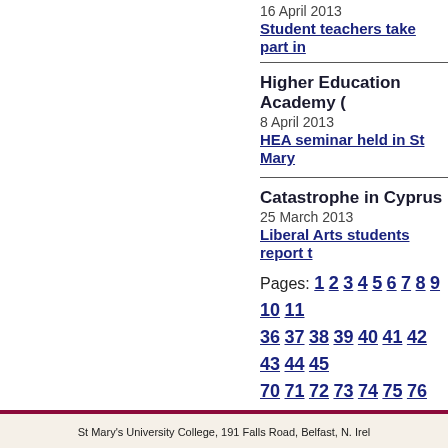16 April 2013
Student teachers take part in...
Higher Education Academy (
8 April 2013
HEA seminar held in St Mary...
Catastrophe in Cyprus
25 March 2013
Liberal Arts students report t...
Pages: 1 2 3 4 5 6 7 8 9 10 11 ... 36 37 38 39 40 41 42 43 44 45 ... 70 71 72 73 74 75 76 77 78 79 ... 103 104 105 106 107 108 109 ...
For current news items see La...
St Mary's University College, 191 Falls Road, Belfast, N. Irel...